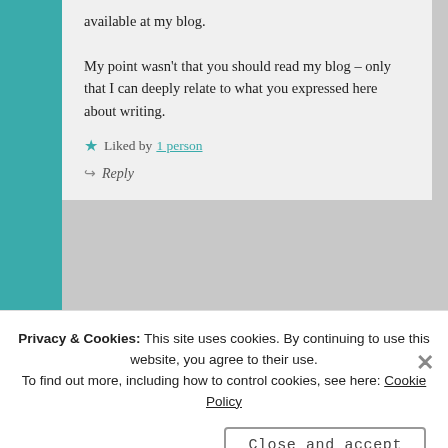available at my blog.

My point wasn't that you should read my blog – only that I can deeply relate to what you expressed here about writing.
★ Liked by 1 person
↪ Reply
Privacy & Cookies: This site uses cookies. By continuing to use this website, you agree to their use.
To find out more, including how to control cookies, see here: Cookie Policy
Close and accept